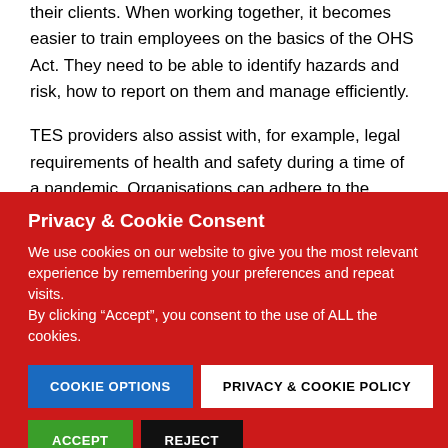their clients. When working together, it becomes easier to train employees on the basics of the OHS Act. They need to be able to identify hazards and risk, how to report on them and manage efficiently.
TES providers also assist with, for example, legal requirements of health and safety during a time of a pandemic. Organisations can adhere to the statutory laws in terms of
Privacy & Cookie Consent
We use cookies on our website to give you the most relevant experience by remembering your preferences and repeat visits.
By clicking “Accept”, you consent to the use of ALL the cookies.